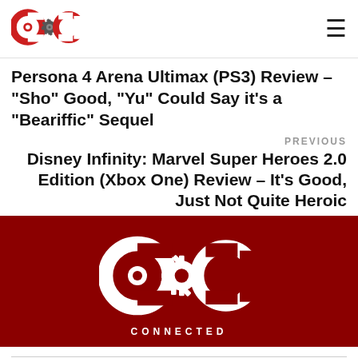[Figure (logo): COG Connected logo — red circular C shapes flanking a gear, in red on white background]
Persona 4 Arena Ultimax (PS3) Review – “Sho” Good, “Yu” Could Say it’s a “Beariffic” Sequel
PREVIOUS
Disney Infinity: Marvel Super Heroes 2.0 Edition (Xbox One) Review – It’s Good, Just Not Quite Heroic
[Figure (logo): COG Connected large white logo on dark red background with CONNECTED text below]
Navigation